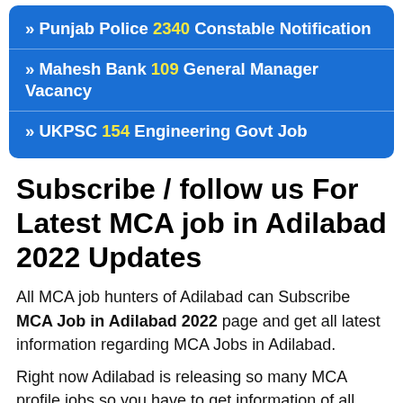» Punjab Police 2340 Constable Notification
» Mahesh Bank 109 General Manager Vacancy
» UKPSC 154 Engineering Govt Job
Subscribe / follow us For Latest MCA job in Adilabad 2022 Updates
All MCA job hunters of Adilabad can Subscribe MCA Job in Adilabad 2022 page and get all latest information regarding MCA Jobs in Adilabad.
Right now Adilabad is releasing so many MCA profile jobs so you have to get information of all